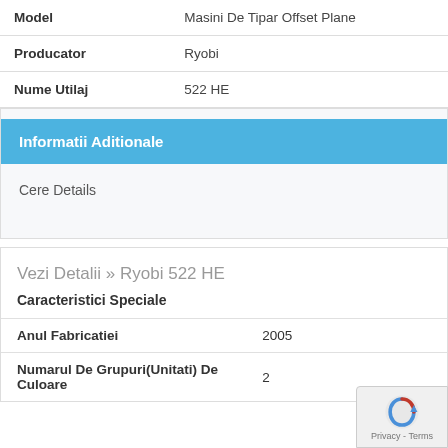| Field | Value |
| --- | --- |
| Model | Masini De Tipar Offset Plane |
| Producator | Ryobi |
| Nume Utilaj | 522 HE |
Informatii Aditionale
Cere Details
Vezi Detalii >> Ryobi 522 HE
Caracteristici Speciale
| Field | Value |
| --- | --- |
| Anul Fabricatiei | 2005 |
| Numarul De Grupuri(Unitati) De Culoare | 2 |